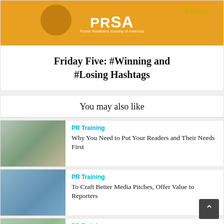[Figure (logo): PRSA PRSay banner with orange background, PRSA logo and PRSay text]
Friday Five: #Winning and #Losing Hashtags
You may also like
[Figure (photo): Woman with glasses reading a book in professional setting]
PR Training
Why You Need to Put Your Readers and Their Needs First
[Figure (photo): Office setting with email icons overlay]
PR Training
To Craft Better Media Pitches, Offer Value to Reporters
[Figure (photo): Office desk with 2022 calendar/frame]
PR Training
The Top-8 Writing Tips for 2022